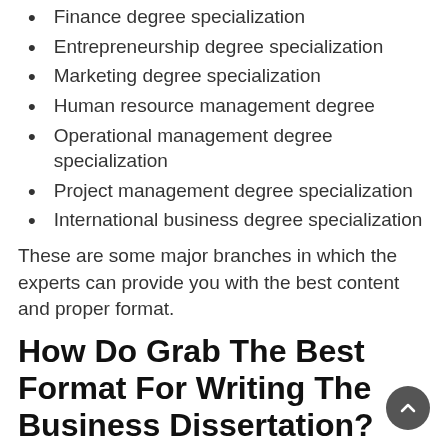Finance degree specialization
Entrepreneurship degree specialization
Marketing degree specialization
Human resource management degree
Operational management degree specialization
Project management degree specialization
International business degree specialization
These are some major branches in which the experts can provide you with the best content and proper format.
How Do Grab The Best Format For Writing The Business Dissertation?
Before writing the dissertation, it is very essential for the